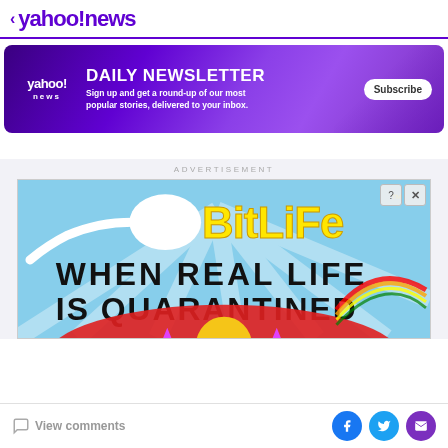< yahoo!news
[Figure (infographic): Yahoo News Daily Newsletter banner with purple gradient background. Yahoo! news logo on left, 'DAILY NEWSLETTER' heading in bold white uppercase, subtitle 'Sign up and get a round-up of our most popular stories, delivered to your inbox.', and a white Subscribe button.]
ADVERTISEMENT
[Figure (screenshot): BitLife mobile game advertisement with light blue background showing a sperm graphic and 'BitLife' logo in yellow bold text, with black text reading 'WHEN REAL LIFE IS QUARANTINED' and colorful cartoon graphics at the bottom with stars.]
View comments